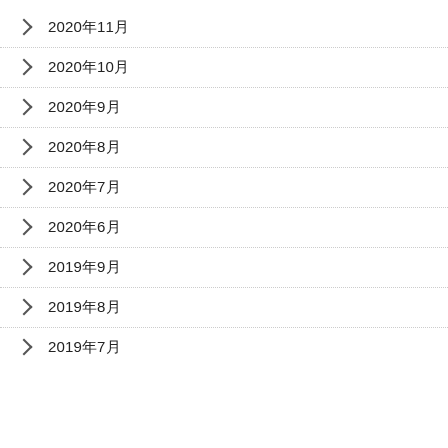2020年11月
2020年10月
2020年9月
2020年8月
2020年7月
2020年6月
2019年9月
2019年8月
2019年7月